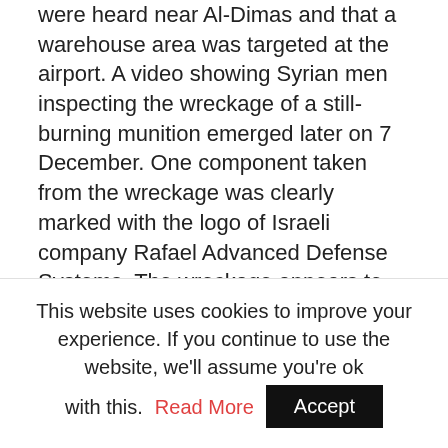were heard near Al-Dimas and that a warehouse area was targeted at the airport. A video showing Syrian men inspecting the wreckage of a still-burning munition emerged later on 7 December. One component taken from the wreckage was clearly marked with the logo of Israeli company Rafael Advanced Defense Systems. The wreckage appears to be consistent with Rafael's Popeye air-launched stand-off missile, rather than the Gabriel. While it is unclear which version of the Popeye was used, it was carrying a 350 kg blast fragmentation warhead that does not appear to have detonated, indicating the missile either failed or was
This website uses cookies to improve your experience. If you continue to use the website, we'll assume you're ok with this. Read More Accept